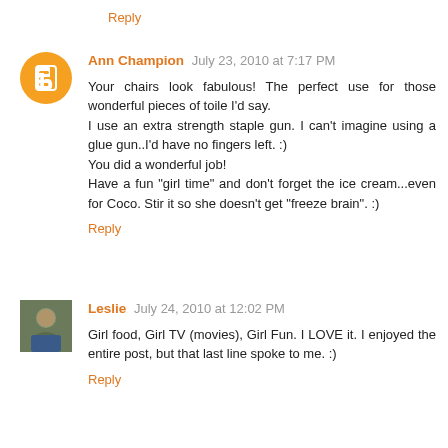Reply
Ann Champion  July 23, 2010 at 7:17 PM
Your chairs look fabulous! The perfect use for those wonderful pieces of toile I'd say.
I use an extra strength staple gun. I can't imagine using a glue gun..I'd have no fingers left. :)
You did a wonderful job!
Have a fun "girl time" and don't forget the ice cream...even for Coco. Stir it so she doesn't get "freeze brain". :)
Reply
Leslie  July 24, 2010 at 12:02 PM
Girl food, Girl TV (movies), Girl Fun. I LOVE it. I enjoyed the entire post, but that last line spoke to me. :)
Reply